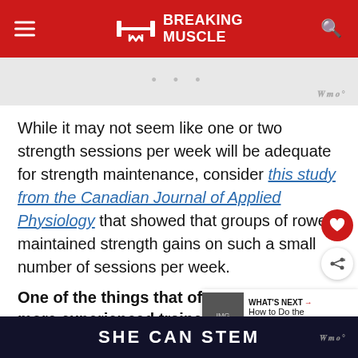BREAKING MUSCLE
[Figure (screenshot): Advertisement banner area with grey background and dots]
While it may not seem like one or two strength sessions per week will be adequate for strength maintenance, consider this study from the Canadian Journal of Applied Physiology that showed that groups of rowers maintained strength gains on such a small number of sessions per week.
One of the things that often niggles at more experienced trainees is the idea that constant life
SHE CAN STEM